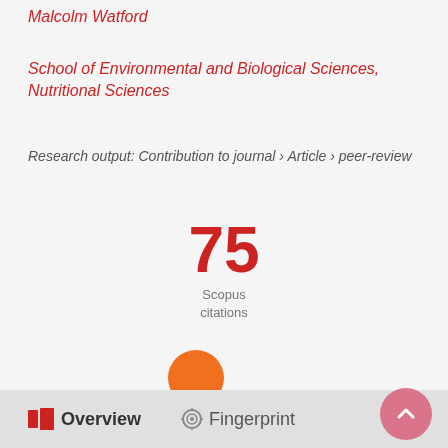Malcolm Watford
School of Environmental and Biological Sciences, Nutritional Sciences
Research output: Contribution to journal › Article › peer-review
[Figure (infographic): 75 Scopus citations badge with large red '75' numeral and gray 'Scopus citations' label below]
[Figure (logo): Altmetric/Pure fingerprint logo: orange circle with purple asterisk-like splat and purple circle]
Overview  Fingerprint